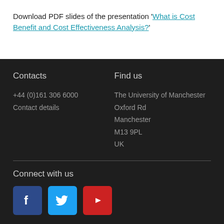Download PDF slides of the presentation 'What is Cost Benefit and Cost Effectiveness Analysis?'
Contacts
+44 (0)161 306 6000
Contact details
Find us
The University of Manchester
Oxford Rd
Manchester
M13 9PL
UK
Connect with us
[Figure (other): Social media icons: Facebook, Twitter, YouTube]